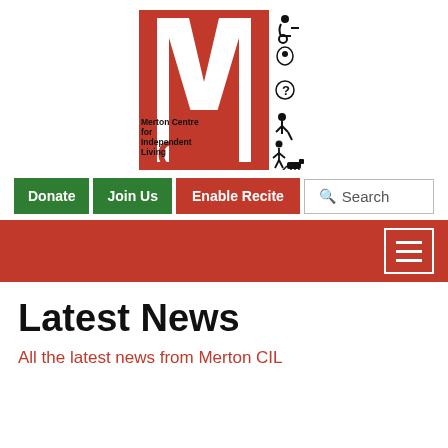[Figure (logo): MCIL logo - Merton Centre for Independent Living. Large red M with disability accessibility icons on the right side and red CIL text at the bottom with 'Merton Centre for Independent Living' text.]
Donate | Join Us | Enable Recite | Search
[Figure (infographic): Red navigation bar with hamburger menu button (three horizontal lines) in the top right corner]
Latest News
All the latest news from Merton CIL